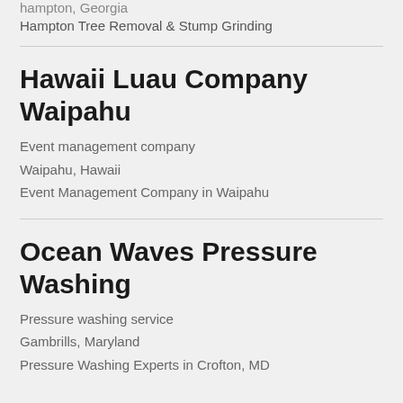hampton, Georgia
Hampton Tree Removal & Stump Grinding
Hawaii Luau Company Waipahu
Event management company
Waipahu, Hawaii
Event Management Company in Waipahu
Ocean Waves Pressure Washing
Pressure washing service
Gambrills, Maryland
Pressure Washing Experts in Crofton, MD